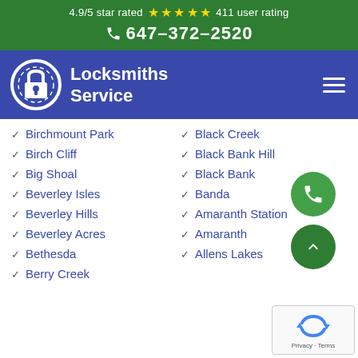4.9/5 star rated ★★★★★ 411 user rating
☎ 647-372-2520
[Figure (logo): Locksmiths Service logo with padlock icon and text Locksmiths Service on dark blue background with hamburger menu icon]
Birchmount Park
Birch Cliff
Big Shoal
Beverley Isles
Beverley Hills
Beverley Acres
Bethesda
Berry Creek
Black Creek
Black Bank Hill
Black Bank
Banda
Amaranth Station
Amaranth
Allens Lakes